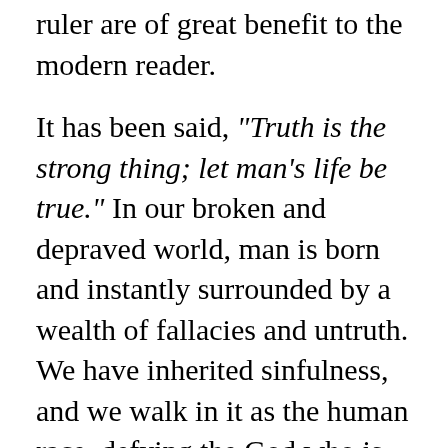ruler are of great benefit to the modern reader.
It has been said, “Truth is the strong thing; let man’s life be true.” In our broken and depraved world, man is born and instantly surrounded by a wealth of fallacies and untruth. We have inherited sinfulness, and we walk in it as the human race, defying the God who is there.
This sin unceasingly puts us at odds with our Maker, who also died to be our Savior; the One who is Lord of all. Our only hope lies not in ourselves, but in Christ Jesus. In